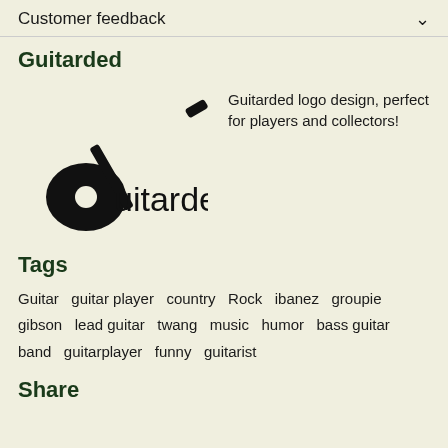Customer feedback
Guitarded
[Figure (logo): Guitarded logo: a black silhouette of an acoustic guitar overlaid with the text 'guitarded' in a casual font]
Guitarded logo design, perfect for players and collectors!
Tags
Guitar  guitar player  country  Rock  ibanez  groupie  gibson  lead guitar  twang  music  humor  bass guitar  band  guitarplayer  funny  guitarist
Share